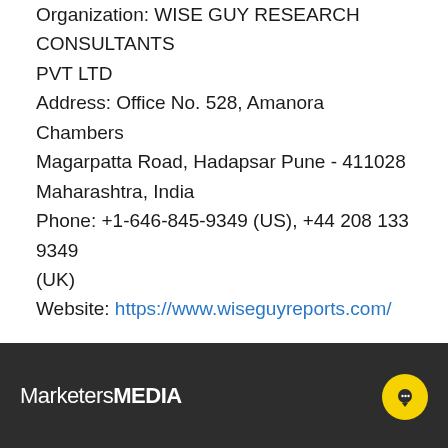Organization: WISE GUY RESEARCH CONSULTANTS PVT LTD
Address: Office No. 528, Amanora Chambers
Magarpatta Road, Hadapsar Pune - 411028
Maharashtra, India
Phone: +1-646-845-9349 (US), +44 208 133 9349 (UK)
Website: https://www.wiseguyreports.com/
Release ID: 461436
MarketersMEDIA